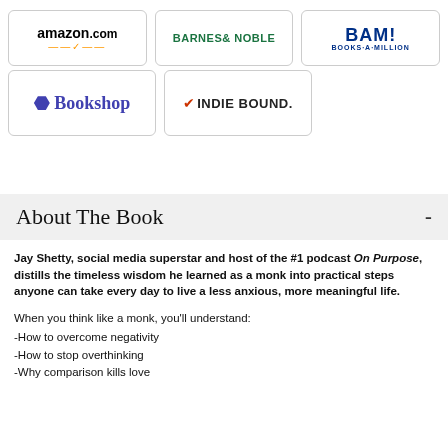[Figure (logo): Amazon.com logo with orange arrow]
[Figure (logo): Barnes and Noble logo in green]
[Figure (logo): BAM! Books-A-Million logo in navy blue]
[Figure (logo): Bookshop logo with stylized B]
[Figure (logo): IndieBound logo with red checkmark]
About The Book -
Jay Shetty, social media superstar and host of the #1 podcast On Purpose, distills the timeless wisdom he learned as a monk into practical steps anyone can take every day to live a less anxious, more meaningful life.
When you think like a monk, you'll understand:
-How to overcome negativity
-How to stop overthinking
-Why comparison kills love